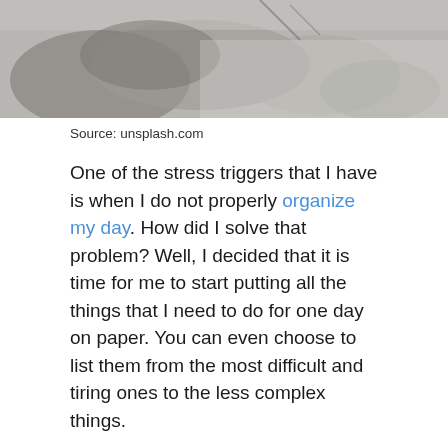[Figure (photo): Close-up photo of what appears to be mittens or gloves on a snowy or wooden surface, blurred background]
Source: unsplash.com
One of the stress triggers that I have is when I do not properly organize my day. How did I solve that problem? Well, I decided that it is time for me to start putting all the things that I need to do for one day on paper. You can even choose to list them from the most difficult and tiring ones to the less complex things.
Once you do this, you should always try hard to finish everything that you have for one day. Ticking off the things from your list will not only help you lower the tension you are